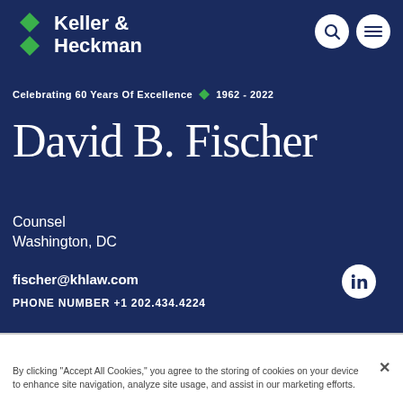[Figure (logo): Keller & Heckman law firm logo with green diamond shape and white text]
Celebrating 60 Years Of Excellence ◆ 1962 - 2022
David B. Fischer
Counsel
Washington, DC
fischer@khlaw.com
PHONE NUMBER +1 202.434.4224
By clicking "Accept All Cookies," you agree to the storing of cookies on your device to enhance site navigation, analyze site usage, and assist in our marketing efforts.